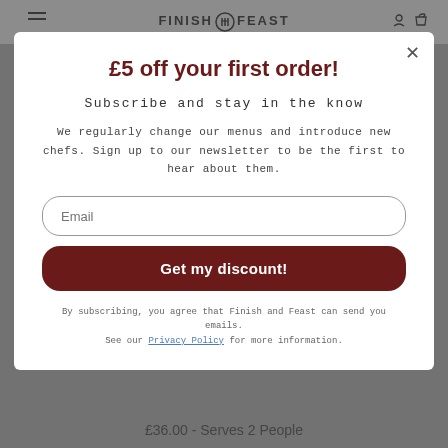FINISH AND FEAST
£5 off your first order!
Subscribe and stay in the know
We regularly change our menus and introduce new chefs. Sign up to our newsletter to be the first to hear about them.
Email
Get my discount!
By subscribing, you agree that Finish and Feast can send you emails. See our Privacy Policy for more information.
£36.00 - Serves 2 People